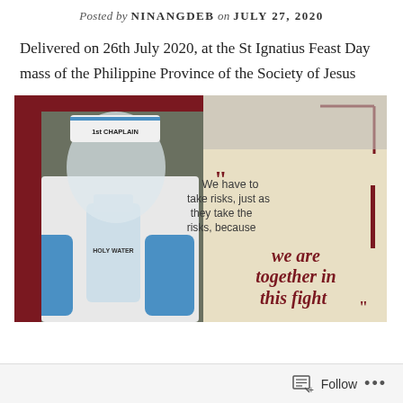Posted by NINANGDEB on JULY 27, 2020
Delivered on 26th July 2020, at the St Ignatius Feast Day mass of the Philippine Province of the Society of Jesus
[Figure (photo): Left half: A person in a white PPE hazmat suit wearing a face shield and a cap labeled '1st CHAPLAIN', holding up a bottle labeled 'HOLY WATER' with blue-gloved hands. Right half: A beige/cream graphic with dark red corner bracket decorations and text quote: '"We have to take risks, just as they take the risks, because we are together in this fight"' — the last part in large dark red italic script font.]
Follow ...